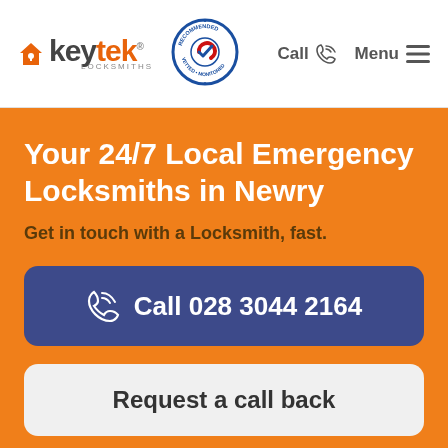[Figure (logo): Keytek Locksmiths logo with orange house/key icon and grey text, alongside a circular 'Recommended Vetted Monitored' badge]
Call   Menu
Your 24/7 Local Emergency Locksmiths in Newry
Get in touch with a Locksmith, fast.
Call 028 3044 2164
Request a call back